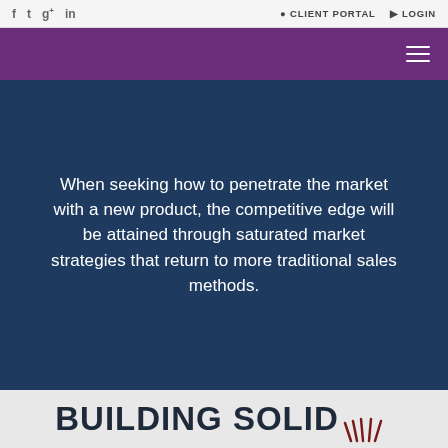f  t  g+  in  |  CLIENT PORTAL  LOGIN
[Figure (screenshot): Purple navigation header bar with hamburger menu icon on the right]
When seeking how to penetrate the market with a new product, the competitive edge will be attained through saturated market strategies that return to more traditional sales methods.
BUILDING SOLID